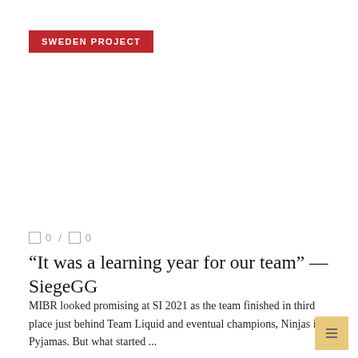SWEDEN PROJECT
0  /  0
“It was a learning year for our team” — SiegeGG
MIBR looked promising at SI 2021 as the team finished in third place just behind Team Liquid and eventual champions, Ninjas in Pyjamas. But what started ...
READ MORE